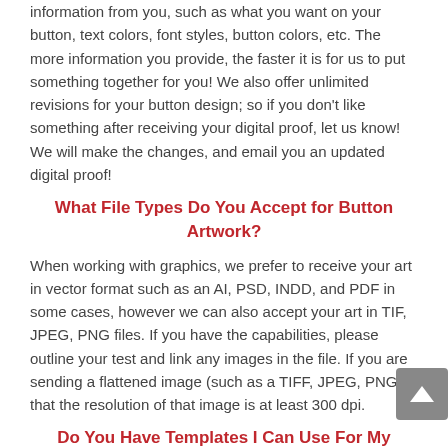information from you, such as what you want on your button, text colors, font styles, button colors, etc. The more information you provide, the faster it is for us to put something together for you! We also offer unlimited revisions for your button design; so if you don't like something after receiving your digital proof, let us know! We will make the changes, and email you an updated digital proof!
What File Types Do You Accept for Button Artwork?
When working with graphics, we prefer to receive your art in vector format such as an AI, PSD, INDD, and PDF in some cases, however we can also accept your art in TIF, JPEG, PNG files. If you have the capabilities, please outline your test and link any images in the file. If you are sending a flattened image (such as a TIFF, JPEG, PNG) that the resolution of that image is at least 300 dpi.
Do You Have Templates I Can Use For My